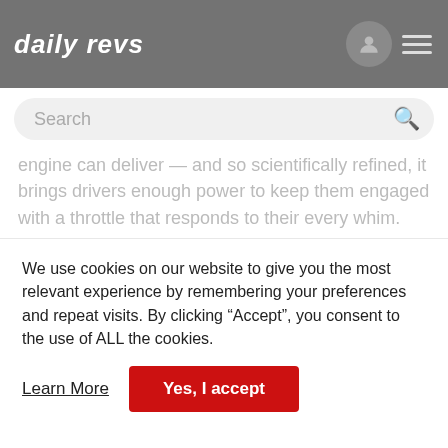daily revs
engine can deliver — and so scientifically refined, it brings drivers enough power to keep them engaged with a throttle that responds to their every whim.
The automatic and manual transmissions have also received the GR treatment.
The six-speed automatic transmission now employs adaptive controls that sense brake and accelerator operation, automatically shifting to the optimal gear so the driver can
We use cookies on our website to give you the most relevant experience by remembering your preferences and repeat visits. By clicking “Accept”, you consent to the use of ALL the cookies.
Learn More
Yes, I accept